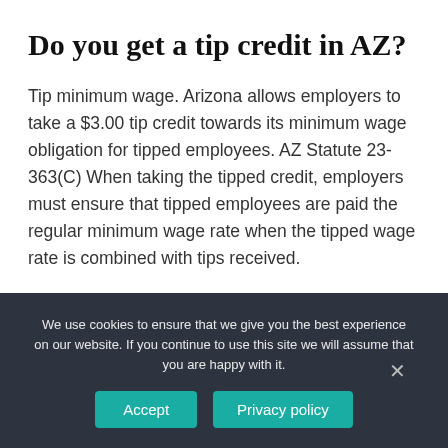Do you get a tip credit in AZ?
Tip minimum wage. Arizona allows employers to take a $3.00 tip credit towards its minimum wage obligation for tipped employees. AZ Statute 23-363(C) When taking the tipped credit, employers must ensure that tipped employees are paid the regular minimum wage rate when the tipped wage rate is combined with tips received.
Who is eligible for FMLA leave of absence?
We use cookies to ensure that we give you the best experience on our website. If you continue to use this site we will assume that you are happy with it.